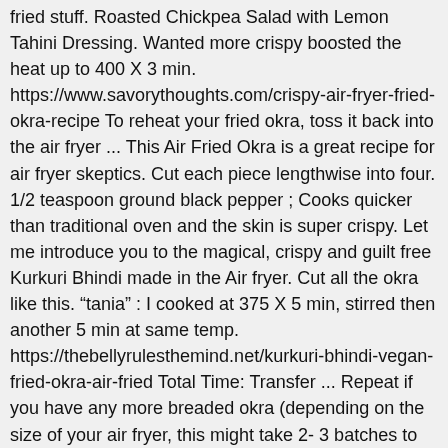fried stuff. Roasted Chickpea Salad with Lemon Tahini Dressing. Wanted more crispy boosted the heat up to 400 X 3 min. https://www.savorythoughts.com/crispy-air-fryer-fried-okra-recipe To reheat your fried okra, toss it back into the air fryer ... This Air Fried Okra is a great recipe for air fryer skeptics. Cut each piece lengthwise into four. 1/2 teaspoon ground black pepper ; Cooks quicker than traditional oven and the skin is super crispy. Let me introduce you to the magical, crispy and guilt free Kurkuri Bhindi made in the Air fryer. Cut all the okra like this. "tania" : I cooked at 375 X 5 min, stirred then another 5 min at same temp. https://thebellyrulesthemind.net/kurkuri-bhindi-vegan-fried-okra-air-fried Total Time: Transfer ... Repeat if you have any more breaded okra (depending on the size of your air fryer, this might take 2- 3 batches to cook - but the result is work it. ","position":1,"name":"Wash and pat dry the okra with a...","url":"https:\/\/thesaltandsweet.com\/air-fried-okra\/#mv_create_50_1"},{"@type":"HowToStep","text":"Preheat an air fryer to 400 F.","position":2,"name":"Preheat an air fryer to 400